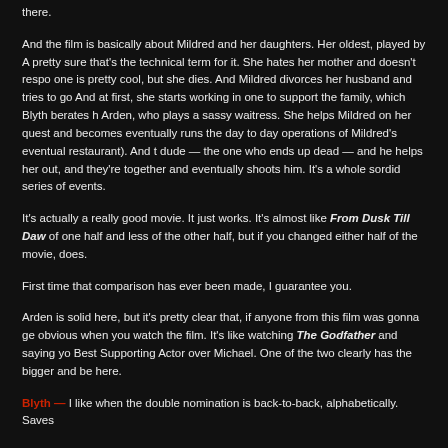there.
And the film is basically about Mildred and her daughters. Her oldest, played by A... pretty sure that's the technical term for it. She hates her mother and doesn't respo... one is pretty cool, but she dies. And Mildred divorces her husband and tries to go... And at first, she starts working in one to support the family, which Blyth berates h... Arden, who plays a sassy waitress. She helps Mildred on her quest and becomes... eventually runs the day to day operations of Mildred's eventual restaurant). And t... dude — the one who ends up dead — and he helps her out, and they're together... and eventually shoots him. It's a whole sordid series of events.
It's actually a really good movie. It just works. It's almost like From Dusk Till Dawn of one half and less of the other half, but if you changed either half of the movie, it does.
First time that comparison has ever been made, I guarantee you.
Arden is solid here, but it's pretty clear that, if anyone from this film was gonna ge... obvious when you watch the film. It's like watching The Godfather and saying yo... Best Supporting Actor over Michael. One of the two clearly has the bigger and be... here.
Blyth — I like when the double nomination is back-to-back, alphabetically. Saves...
Bltyh, as I said, is the only one worth voting for from this film, and is actually goo...